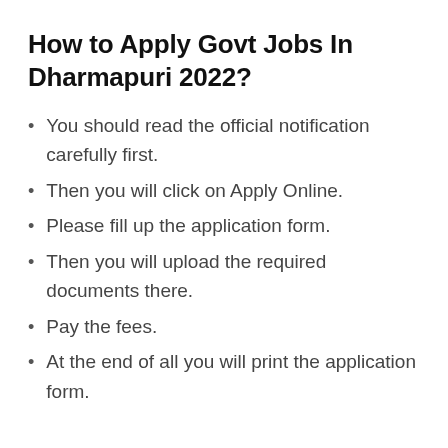How to Apply Govt Jobs In Dharmapuri 2022?
You should read the official notification carefully first.
Then you will click on Apply Online.
Please fill up the application form.
Then you will upload the required documents there.
Pay the fees.
At the end of all you will print the application form.